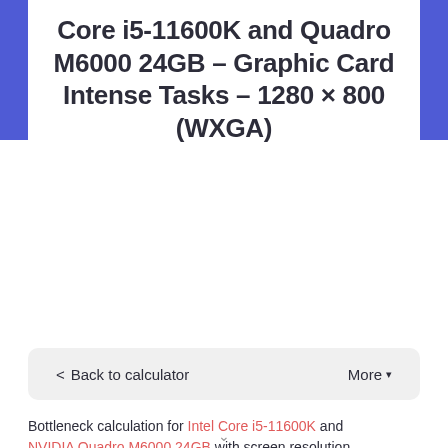Core i5-11600K and Quadro M6000 24GB – Graphic Card Intense Tasks – 1280 × 800 (WXGA)
< Back to calculator    More ▼
Bottleneck calculation for Intel Core i5-11600K and NVIDIA Quadro M6000 24GB with screen resolution